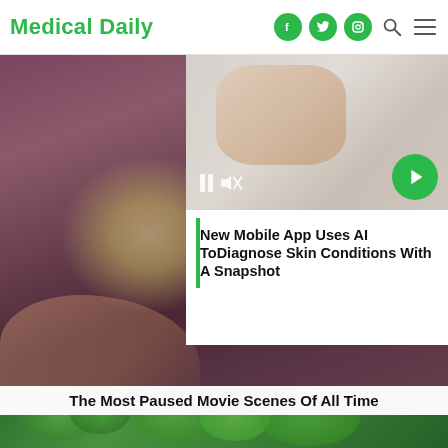Medical Daily
[Figure (screenshot): Medical Daily website screenshot showing a header with logo, social icons, a featured article card with AI skin diagnosis app, a main video thumbnail of woman on couch with YouTube play button, caption, and green photo at bottom]
New Mobile App Uses AI ToDiagnose Skin Conditions With A Snapshot
The Most Paused Movie Scenes Of All Time
[Figure (photo): Green leaves/plants photo at the bottom of the page]